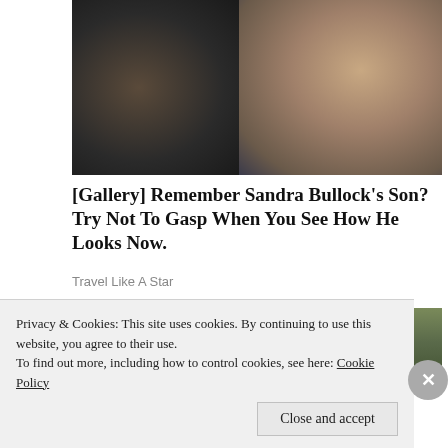[Figure (photo): A woman wearing dark sunglasses holding a young child, both facing the camera. Close-up photograph.]
[Gallery] Remember Sandra Bullock's Son? Try Not To Gasp When You See How He Looks Now.
Travel Like A Star
[Figure (photo): Exterior photo of a wooden building with trees in the background.]
Privacy & Cookies: This site uses cookies. By continuing to use this website, you agree to their use.
To find out more, including how to control cookies, see here: Cookie Policy
Close and accept